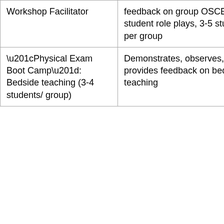| Workshop Facilitator | feedback on group OSCE / student role plays, 3-5 students per group | rotation. 8 times a year 24 hours |
| “Physical Exam Boot Camp”: Bedside teaching (3-4 students/ group) | Demonstrates, observes, and provides feedback on bedside teaching | 60 min/rotation. times a year 8 hours |
| Primary Care Clerkship |  |  |
| --- | --- | --- |
| Teaching Opportunity | Description | Time Frame |